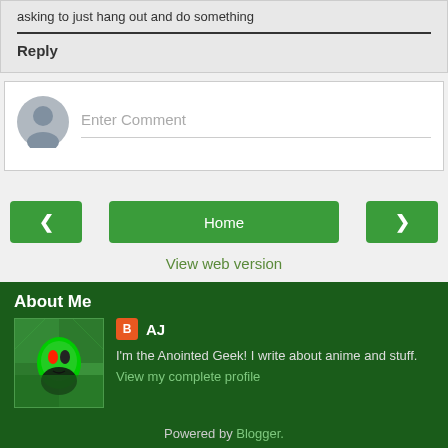asking to just hang out and do something
Reply
Enter Comment
Home
View web version
About Me
AJ
I'm the Anointed Geek! I write about anime and stuff.
View my complete profile
Powered by Blogger.